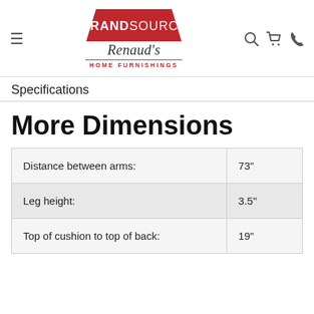BrandSource Renaud's Home Furnishings — navigation header with hamburger menu, logo, search, cart, and phone icons
Specifications
More Dimensions
|  |  |
| --- | --- |
| Distance between arms: | 73" |
| Leg height: | 3.5" |
| Top of cushion to top of back: | 19" |